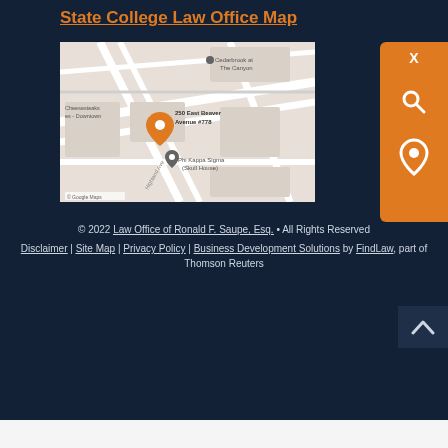State College Law Office Map
[Figure (map): Google map showing pin at 250 East Beaver Avenue #778, State College, with nearby labels: Cedarbrook at The Canyon, Phi Kappa Sigma (Skull House), Cheesesteaks Downtown]
© 2022 Law Office of Ronald F. Saupe, Esq. • All Rights Reserved
Disclaimer | Site Map | Privacy Policy | Business Development Solutions by FindLaw, part of Thomson Reuters